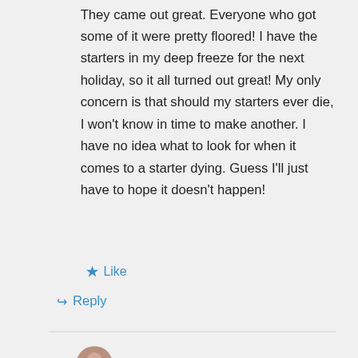They came out great. Everyone who got some of it were pretty floored! I have the starters in my deep freeze for the next holiday, so it all turned out great! My only concern is that should my starters ever die, I won't know in time to make another. I have no idea what to look for when it comes to a starter dying. Guess I'll just have to hope it doesn't happen!
★ Like
↪ Reply
Veronica on April 25, 2018 at